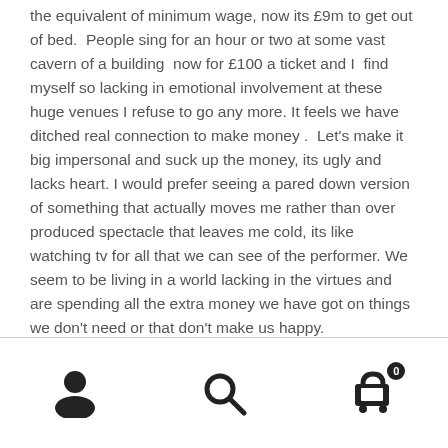the equivalent of minimum wage, now its £9m to get out of bed.  People sing for an hour or two at some vast cavern of a building  now for £100 a ticket and I  find myself so lacking in emotional involvement at these huge venues I refuse to go any more. It feels we have ditched real connection to make money .  Let's make it big impersonal and suck up the money, its ugly and lacks heart. I would prefer seeing a pared down version of something that actually moves me rather than over produced spectacle that leaves me cold, its like watching tv for all that we can see of the performer. We seem to be living in a world lacking in the virtues and are spending all the extra money we have got on things we don't need or that don't make us happy.
navigation icons: user, search, cart (0)